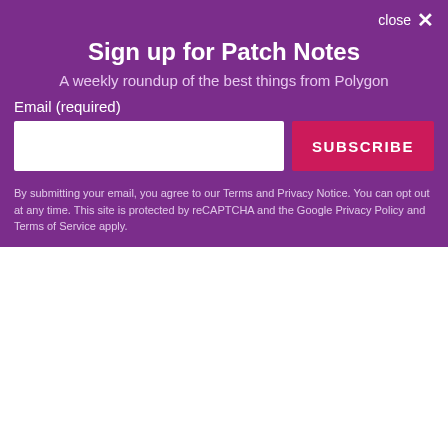PUBG BATTLEGROUNDS
[Figure (screenshot): YouTube video thumbnail for 'PUBG: BATTLEGROUNDS FOR ALL' showing a soldier in helmet with text 'BATTLEGROUNDS FOR ALL' and a YouTube play button overlay]
close ✕
Sign up for Patch Notes
A weekly roundup of the best things from Polygon
Email (required)
SUBSCRIBE
By submitting your email, you agree to our Terms and Privacy Notice. You can opt out at any time. This site is protected by reCAPTCHA and the Google Privacy Policy and Terms of Service apply.